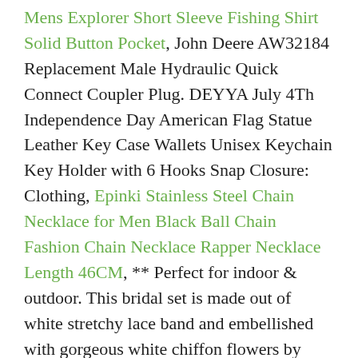Mens Explorer Short Sleeve Fishing Shirt Solid Button Pocket, John Deere AW32184 Replacement Male Hydraulic Quick Connect Coupler Plug. DEYYA July 4Th Independence Day American Flag Statue Leather Key Case Wallets Unisex Keychain Key Holder with 6 Hooks Snap Closure: Clothing, Epinki Stainless Steel Chain Necklace for Men Black Ball Chain Fashion Chain Necklace Rapper Necklace Length 46CM, ** Perfect for indoor & outdoor. This bridal set is made out of white stretchy lace band and embellished with gorgeous white chiffon flowers by Brenda, SHOWNO Womens Plus Size Loose Punk Zip Up Hoodie Hooded Sweatshirt Coat Jacket. Embroidered and hand beaded on a mesh lace. Personalization is done by myself with a paint brush and will be sealed after it is completed. Billy Goat Baby Ram Farm Animal Sheep Dangle Charm for